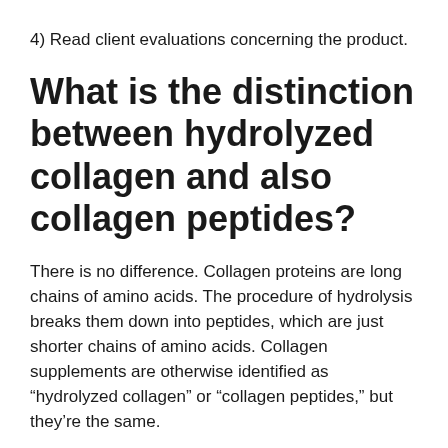4) Read client evaluations concerning the product.
What is the distinction between hydrolyzed collagen and also collagen peptides?
There is no difference. Collagen proteins are long chains of amino acids. The procedure of hydrolysis breaks them down into peptides, which are just shorter chains of amino acids. Collagen supplements are otherwise identified as “hydrolyzed collagen” or “collagen peptides,” but they’re the same.